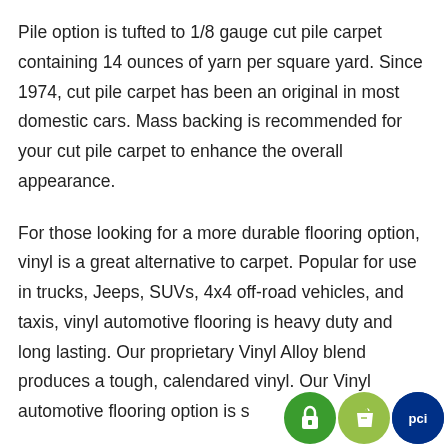Pile option is tufted to 1/8 gauge cut pile carpet containing 14 ounces of yarn per square yard. Since 1974, cut pile carpet has been an original in most domestic cars. Mass backing is recommended for your cut pile carpet to enhance the overall appearance.
For those looking for a more durable flooring option, vinyl is a great alternative to carpet. Popular for use in trucks, Jeeps, SUVs, 4x4 off-road vehicles, and taxis, vinyl automotive flooring is heavy duty and long lasting. Our proprietary Vinyl Alloy blend produces a tough, calendared vinyl. Our Vinyl automotive flooring option is s…